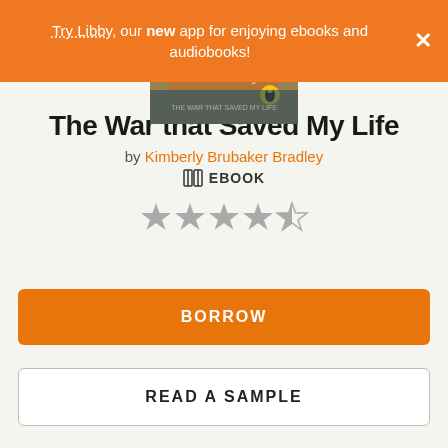Try Libby, our new app for enjoying ebooks and audiobooks!
[Figure (illustration): Book cover for The War that Saved My Life by Kimberly Brubaker Bradley, showing teal/orange cover with Penguin Books logo]
The War that Saved My Life
by Kimberly Brubaker Bradley
EBOOK
[Figure (other): 4-and-a-half star rating out of 5 stars shown as grey filled stars]
BORROW
READ A SAMPLE